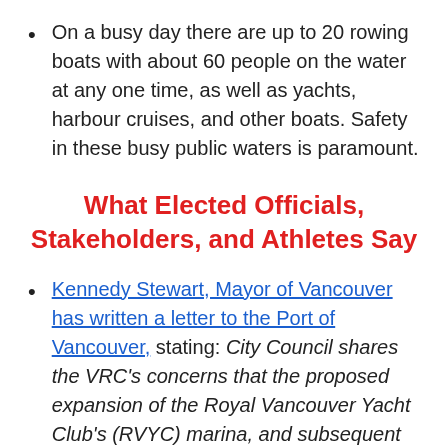On a busy day there are up to 20 rowing boats with about 60 people on the water at any one time, as well as yachts, harbour cruises, and other boats. Safety in these busy public waters is paramount.
What Elected Officials, Stakeholders, and Athletes Say
Kennedy Stewart, Mayor of Vancouver has written a letter to the Port of Vancouver, stating: City Council shares the VRC's concerns that the proposed expansion of the Royal Vancouver Yacht Club's (RVYC) marina, and subsequent narrowing of the Coal Harbour waterway, will have